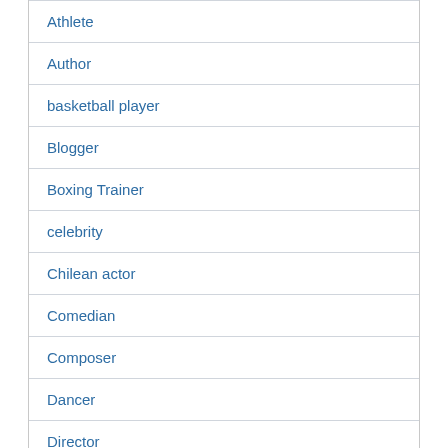Athlete
Author
basketball player
Blogger
Boxing Trainer
celebrity
Chilean actor
Comedian
Composer
Dancer
Director
DJ
Doctor
Driver
Drummer